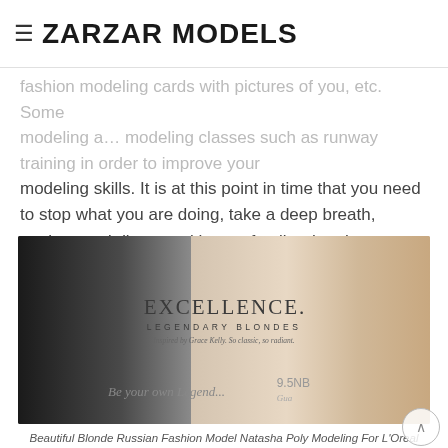ZARZAR MODELS
fashion modeling cards with pictures of you, etc. Some modeling a… modeling classes such as runway training in order to improve your modeling skills. It is at this point in time that you need to stop what you are doing, take a deep breath, analyze and discuss with your family what the agency is asking of you, and decide if what the modeling agency is recommending for you is in the best interest of your fashion modeling career.
[Figure (photo): L'Oreal Paris Excellence Legendary Blondes advertisement featuring a black-and-white vintage photo of Grace Kelly on the left and color photo of model Natasha Poly on the right, with text: EXCELLENCE. LEGENDARY BLONDES, inspired by Grace Kelly. So classic, so radiant. Be your own Legend... 9.5NB]
Beautiful Blonde Russian Fashion Model Natasha Poly Modeling For L'Oreal Paris Excellence Legendary Blondes Ads (L'Oreal Advertisements Inspired By Grace Kelly) Modeling As One Of